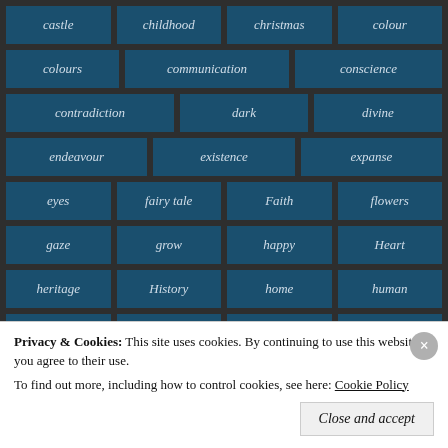castle
childhood
christmas
colour
colours
communication
conscience
contradiction
dark
divine
endeavour
existence
expanse
eyes
fairy tale
Faith
flowers
gaze
grow
happy
Heart
heritage
History
home
human
humour
joy
life
light
Privacy & Cookies: This site uses cookies. By continuing to use this website, you agree to their use. To find out more, including how to control cookies, see here: Cookie Policy
Close and accept